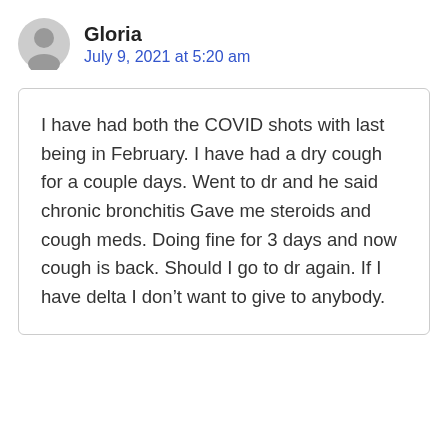Gloria
July 9, 2021 at 5:20 am
I have had both the COVID shots with last being in February. I have had a dry cough for a couple days. Went to dr and he said chronic bronchitis Gave me steroids and cough meds. Doing fine for 3 days and now cough is back. Should I go to dr again. If I have delta I don’t want to give to anybody.